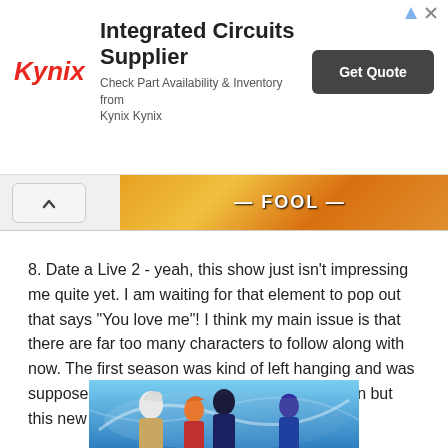[Figure (other): Kynix advertisement banner: Integrated Circuits Supplier - Check Part Availability & Inventory from Kynix Kynix - Get Quote button]
[Figure (other): Decorative banner image strip with warm orange/yellow tones and text 'FOOL']
8. Date a Live 2 - yeah, this show just isn't impressing me quite yet. I am waiting for that element to pop out that says "You love me"! I think my main issue is that there are far too many characters to follow along with now. The first season was kind of left hanging and was supposed to be picked up in the second season but this new season adds even more characters.
[Figure (illustration): Anime illustration of Date a Live 2 characters including characters with white/silver hair, blue/purple hair, red hair, and dark hair against a blue sky background]